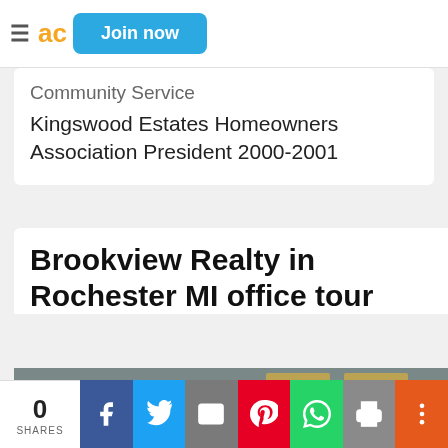Join now
Community Service
Kingswood Estates Homeowners Association President 2000-2001
Brookview Realty in Rochester MI office tour
[Figure (screenshot): Video thumbnail showing a man in a suit with text overlay: BROOKVIEW REALTY office is located in downt[own...], with framed artwork in background]
0 SHARES | Facebook | Twitter | Email | Pinterest | WhatsApp | Print | More